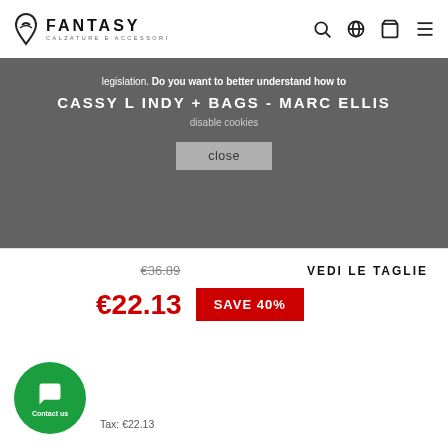FANTASY calzature e accessori
legislation. Do you want to better understand how to
CASSY L INDY + BAGS - MARC ELLIS
disable cookies
close
€36.89
VEDI LE TAGLIE
€22.13
SAVE 40%
Contact us
Tax: €22.13